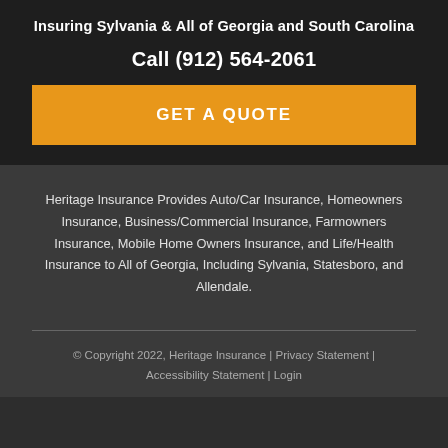Insuring Sylvania & All of Georgia and South Carolina
Call (912) 564-2061
GET A QUOTE
Heritage Insurance Provides Auto/Car Insurance, Homeowners Insurance, Business/Commercial Insurance, Farmowners Insurance, Mobile Home Owners Insurance, and Life/Health Insurance to All of Georgia, Including Sylvania, Statesboro, and Allendale.
© Copyright 2022, Heritage Insurance | Privacy Statement | Accessibility Statement | Login